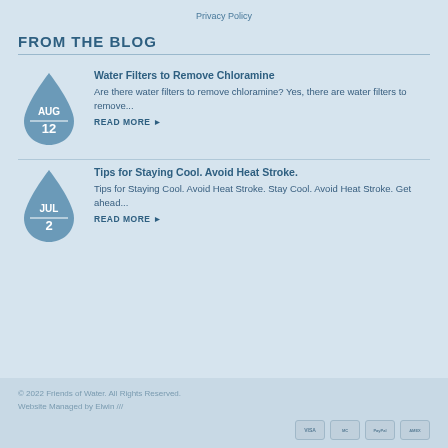Privacy Policy
FROM THE BLOG
Water Filters to Remove Chloramine
Are there water filters to remove chloramine? Yes, there are water filters to remove...
READ MORE ▶
Tips for Staying Cool. Avoid Heat Stroke.
Tips for Staying Cool. Avoid Heat Stroke. Stay Cool. Avoid Heat Stroke. Get ahead...
READ MORE ▶
© 2022 Friends of Water. All Rights Reserved. Website Managed by Elwin ///